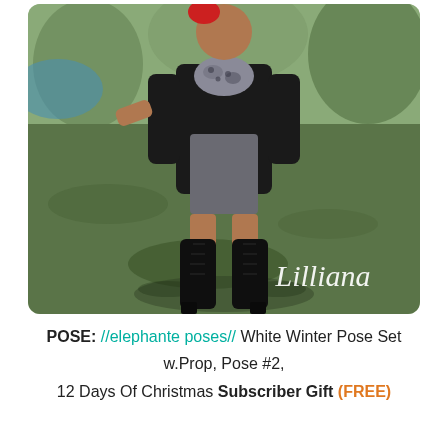[Figure (photo): A 3D virtual avatar (Second Life style) wearing a black coat, gray leopard-print scarf, gray bodycon skirt, and tall black heeled boots, standing on a mossy outdoor ground. The watermark 'Lilliana' appears in white italic script in the lower right corner of the image.]
POSE: //elephante poses// White Winter Pose Set w.Prop, Pose #2, 12 Days Of Christmas Subscriber Gift (FREE)